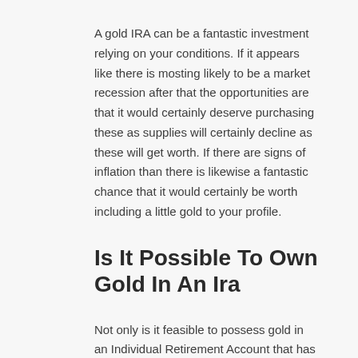A gold IRA can be a fantastic investment relying on your conditions. If it appears like there is mosting likely to be a market recession after that the opportunities are that it would certainly deserve purchasing these as supplies will certainly decline as these will get worth. If there are signs of inflation than there is likewise a fantastic chance that it would certainly be worth including a little gold to your profile.
Is It Possible To Own Gold In An Ira
Not only is it feasible to possess gold in an Individual Retirement Account that has tax-deferred earnings however you can